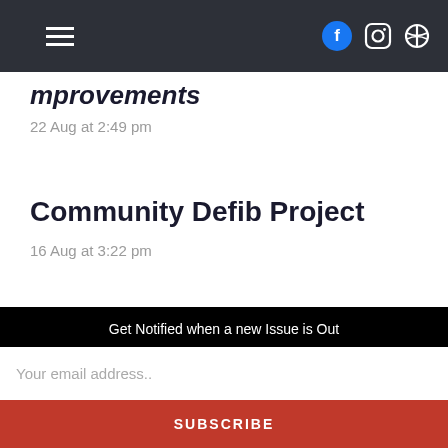Navigation bar with hamburger menu, Facebook, Instagram, and Search icons
mprovements
22 Aug at 2:49 pm
Community Defib Project
16 Aug at 3:22 pm
Get Notified when a new Issue is Out
Your email address..
SUBSCRIBE